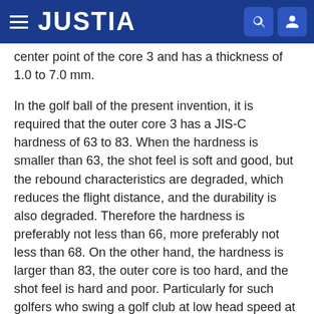JUSTIA
center point of the core 3 and has a thickness of 1.0 to 7.0 mm.
In the golf ball of the present invention, it is required that the outer core 3 has a JIS-C hardness of 63 to 83. When the hardness is smaller than 63, the shot feel is soft and good, but the rebound characteristics are degraded, which reduces the flight distance, and the durability is also degraded. Therefore the hardness is preferably not less than 66, more preferably not less than 68. On the other hand, the hardness is larger than 83, the outer core is too hard, and the shot feel is hard and poor. Particularly for such golfers who swing a golf club at low head speed at the time of hitting that it is expected to obtain the technical effect of the present invention, the shot feel is very hard and poor. Therefore the hardness is preferably not more than 82, more preferably not more than 80.